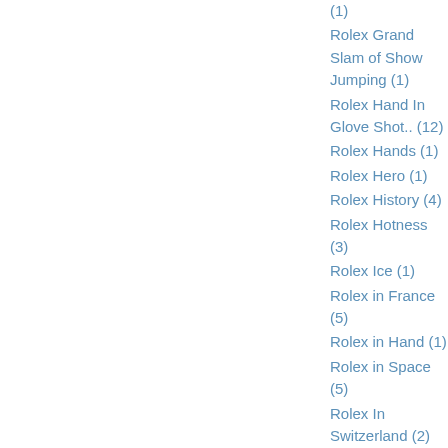(1)
Rolex Grand Slam of Show Jumping (1)
Rolex Hand In Glove Shot.. (12)
Rolex Hands (1)
Rolex Hero (1)
Rolex History (4)
Rolex Hotness (3)
Rolex Ice (1)
Rolex in France (5)
Rolex in Hand (1)
Rolex in Space (5)
Rolex In Switzerland (2)
Rolex in the Movies (47)
Rolex Infographic (1)
Rolex Italy (1)